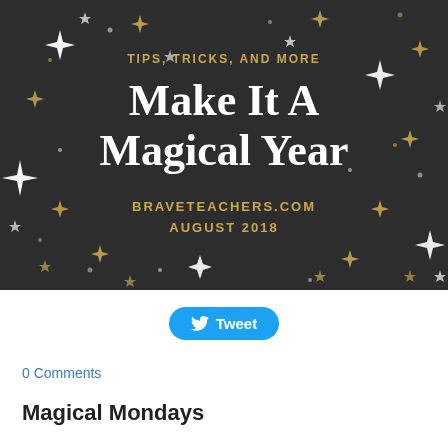[Figure (illustration): Dark background promotional banner with stars and sparkles. Text reads: TIPS, TRICKS, AND MORE / Make It A Magical Year / BRAVETEACHERS.COM / AUGUST 2018]
Tweet
0 Comments
Magical Mondays